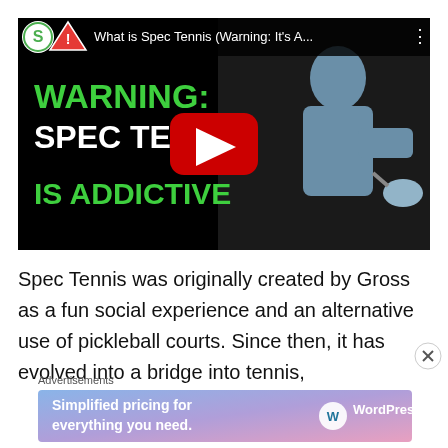[Figure (screenshot): YouTube video thumbnail showing a man playing tennis/pickleball with green bold text reading 'WARNING: SPEC TENNIS IS ADDICTIVE' on a black background, with a YouTube play button overlay and channel logo]
Spec Tennis was originally created by Gross as a fun social experience and an alternative use of pickleball courts. Since then, it has evolved into a bridge into tennis,
Advertisements
[Figure (screenshot): WordPress.com advertisement banner with gradient background (blue to pink) reading 'Simplified pricing for everything you need.' with WordPress.com logo]